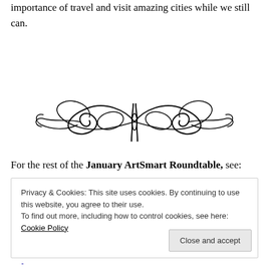importance of travel and visit amazing cities while we still can.
[Figure (illustration): Decorative ornamental divider — symmetrical swirling flourish design in black ink, butterfly-like shape]
For the rest of the January ArtSmart Roundtable, see:
Privacy & Cookies: This site uses cookies. By continuing to use this website, you agree to their use.
To find out more, including how to control cookies, see here: Cookie Policy
Close and accept